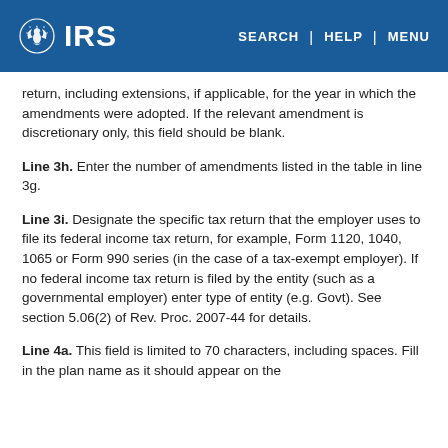IRS | SEARCH | HELP | MENU
return, including extensions, if applicable, for the year in which the amendments were adopted. If the relevant amendment is discretionary only, this field should be blank.
Line 3h. Enter the number of amendments listed in the table in line 3g.
Line 3i. Designate the specific tax return that the employer uses to file its federal income tax return, for example, Form 1120, 1040, 1065 or Form 990 series (in the case of a tax-exempt employer). If no federal income tax return is filed by the entity (such as a governmental employer) enter type of entity (e.g. Govt). See section 5.06(2) of Rev. Proc. 2007-44 for details.
Line 4a. This field is limited to 70 characters, including spaces. Fill in the plan name as it should appear on the